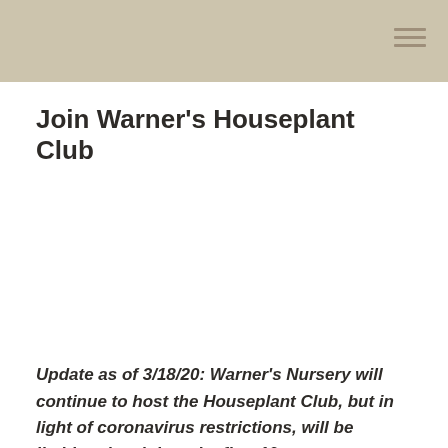Join Warner's Houseplant Club
Update as of 3/18/20: Warner's Nursery will continue to host the Houseplant Club, but in light of coronavirus restrictions, will be limiting the club to the first 10